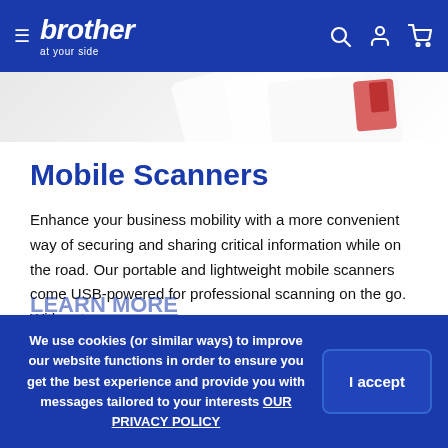brother at your side
[Figure (photo): Partial hero image showing top portion of a Brother mobile scanner product with a card being scanned, light background]
Mobile Scanners
Enhance your business mobility with a more convenient way of securing and sharing critical information while on the road. Our portable and lightweight mobile scanners come USB-powered for professional scanning on the go. With automatic double-sided scanning in a single pass, creating digital copies of your business documents has never been more efficient.
[Figure (illustration): Anime-style customer support avatar wearing headphones with a speech bubble saying '需要幫忙嗎? How may I help?']
We use cookies (or similar ways) to improve our website functions in order to ensure you get the best experience and provide you with messages tailored to your interests OUR PRIVACY POLICY
LEARN MORE